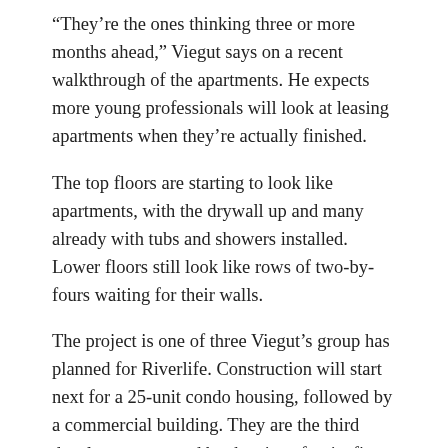“They’re the ones thinking three or more months ahead,” Viegut says on a recent walkthrough of the apartments. He expects more young professionals will look at leasing apartments when they’re actually finished.
The top floors are starting to look like apartments, with the drywall up and many already with tubs and showers installed. Lower floors still look like rows of two-by-fours waiting for their walls.
The project is one of three Viegut’s group has planned for Riverlife. Construction will start next for a 25-unit condo housing, followed by a commercial building. They are the third developers accepted by the city, after its first developer, Mike Frantz, defaulted on the project